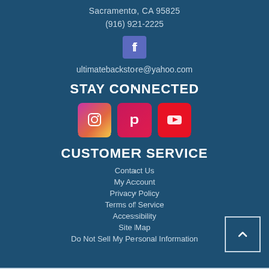Sacramento, CA 95825
(916) 921-2225
[Figure (logo): Facebook icon - blue square with white f letter]
ultimatebackstore@yahoo.com
STAY CONNECTED
[Figure (illustration): Social media icons: Instagram (gradient purple-orange), Pinterest (red with P), YouTube (red with play button)]
CUSTOMER SERVICE
Contact Us
My Account
Privacy Policy
Terms of Service
Accessibility
Site Map
Do Not Sell My Personal Information